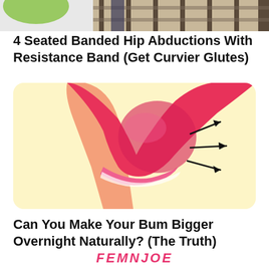[Figure (photo): Top portion of a fitness-related image showing a person doing a seated exercise, partially cropped at top of page]
4 Seated Banded Hip Abductions With Resistance Band (Get Curvier Glutes)
[Figure (illustration): Illustration of a woman from behind wearing pink shorts, with three black arrows pointing outward to the right suggesting glute expansion, on a light yellow rounded-rectangle card background]
Can You Make Your Bum Bigger Overnight Naturally? (The Truth)
FEMNJOE